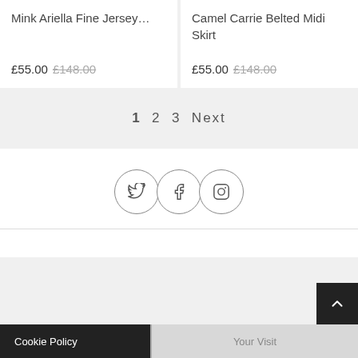Mink Ariella Fine Jersey...
£55.00  £148.00
Camel Carrie Belted Midi Skirt
£55.00  £148.00
1 2 3 Next
[Figure (other): Social media icons: Twitter, Facebook, Instagram in circles]
Cookie Policy | Your Visit